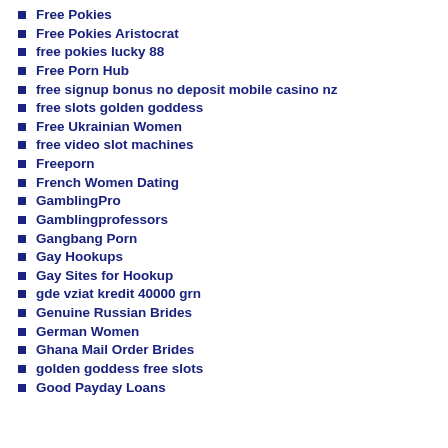Free Pokies
Free Pokies Aristocrat
free pokies lucky 88
Free Porn Hub
free signup bonus no deposit mobile casino nz
free slots golden goddess
Free Ukrainian Women
free video slot machines
Freeporn
French Women Dating
GamblingPro
Gamblingprofessors
Gangbang Porn
Gay Hookups
Gay Sites for Hookup
gde vziat kredit 40000 grn
Genuine Russian Brides
German Women
Ghana Mail Order Brides
golden goddess free slots
Good Payday Loans